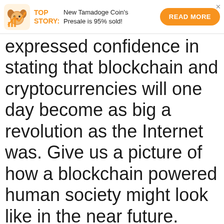TOP STORY: New Tamadoge Coin's Presale is 95% sold! READ MORE
expressed confidence in stating that blockchain and cryptocurrencies will one day become as big a revolution as the Internet was. Give us a picture of how a blockchain powered human society might look like in the near future.
Nikolay: I said it because I see this problem in the world. Firstly, due to the Covid-19 pandemic, the